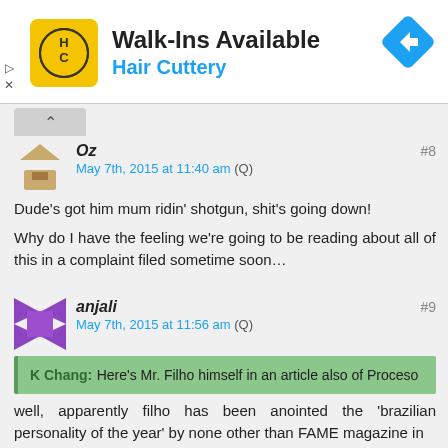[Figure (other): Hair Cuttery advertisement banner: Walk-Ins Available, Hair Cuttery logo with HC in yellow square, blue navigation arrow icon on right, play and close controls on left]
Oz
May 7th, 2015 at 11:40 am (Q)
#8
Dude's got him mum ridin' shotgun, shit's going down!
Why do I have the feeling we're going to be reading about all of this in a complaint filed sometime soon…
anjali
May 7th, 2015 at 11:56 am (Q)
#9
K Chang: Here's Mr. Filho himself in an article also of Proceso
well, apparently filho has been anointed the 'brazilian personality of the year' by none other than FAME magazine in